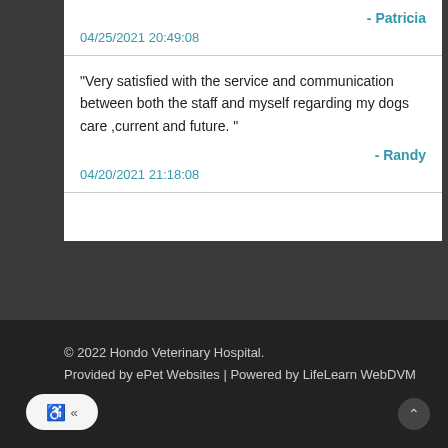- Patricia
04/25/2021 20:49:08
"Very satisfied with the service and communication between both the staff and myself regarding my dogs care ,current and future. "
- Randy
04/20/2021 21:18:08
© 2022 Hondo Veterinary Hospital.
Provided by ePet Websites | Powered by LifeLearn WebDVM